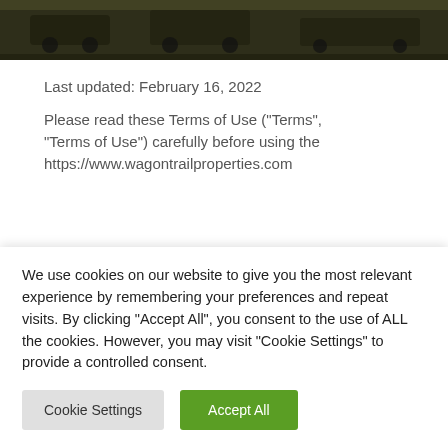[Figure (photo): Dark header image of wagons or vehicles in an outdoor setting with a dark olive/brown color tone]
Last updated: February 16, 2022
Please read these Terms of Use (“Terms”, “Terms of Use”) carefully before using the https://www.wagontrailproperties.com
We use cookies on our website to give you the most relevant experience by remembering your preferences and repeat visits. By clicking “Accept All”, you consent to the use of ALL the cookies. However, you may visit “Cookie Settings” to provide a controlled consent.